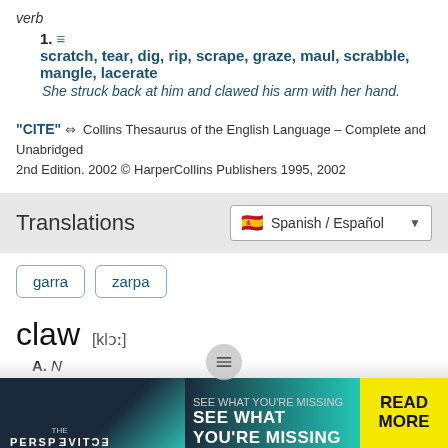verb
1. ≡ scratch, tear, dig, rip, scrape, graze, maul, scrabble, mangle, lacerate She struck back at him and clawed his arm with her hand.
"CITE" 🔗 Collins Thesaurus of the English Language – Complete and Unabridged 2nd Edition. 2002 © HarperCollins Publishers 1995, 2002
Translations
Spanish / Español
garra
zarpa
claw [klɔː]
A. N
1. (Zool) [of cat, bird etc] → garra f; [of lobster] → pinza f
2. (Tech) → garfio m, gancho m
3. claws (= fingers) → dedos de la mano fsing
[Figure (infographic): Advertisement banner: The Perspective - SEE WHAT YOU'RE MISSING - READ MORE]